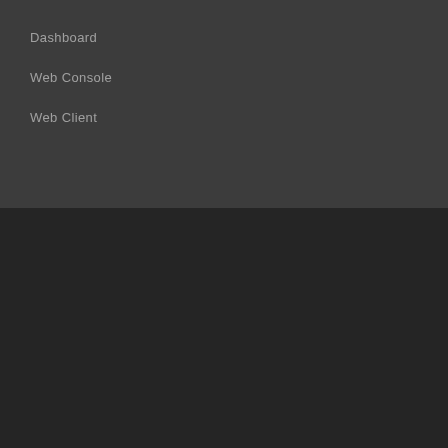Dashboard
Web Console
Web Client
© 2022 NeoRouter Inc. All rights reserved.
support@neorouter.com  |  1.416.800.9783
Terms of use  -  Privacy statement